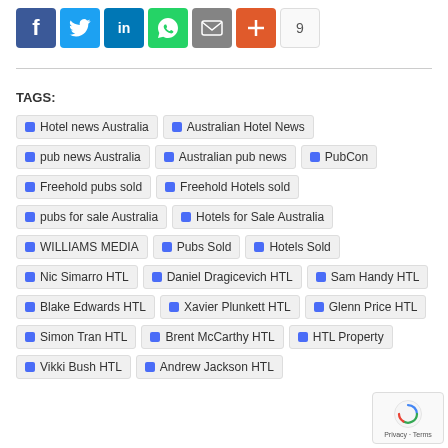[Figure (other): Social media sharing buttons: Facebook, Twitter, LinkedIn, WhatsApp, Email, More (+), and a share count of 9]
TAGS:
Hotel news Australia
Australian Hotel News
pub news Australia
Australian pub news
PubCon
Freehold pubs sold
Freehold Hotels sold
pubs for sale Australia
Hotels for Sale Australia
WILLIAMS MEDIA
Pubs Sold
Hotels Sold
Nic Simarro HTL
Daniel Dragicevich HTL
Sam Handy HTL
Blake Edwards HTL
Xavier Plunkett HTL
Glenn Price HTL
Simon Tran HTL
Brent McCarthy HTL
HTL Property
Vikki Bush HTL
Andrew Jackson HTL